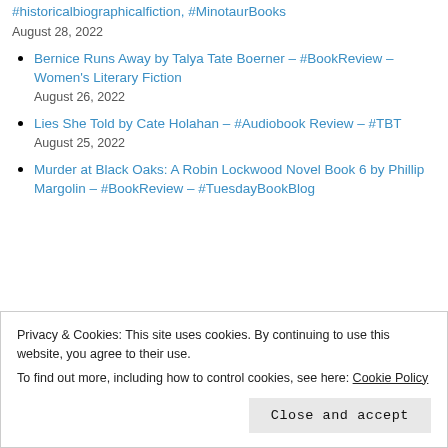#historicalbiographicalfiction, #MinotaurBooks
August 28, 2022
Bernice Runs Away by Talya Tate Boerner – #BookReview – Women's Literary Fiction
August 26, 2022
Lies She Told by Cate Holahan – #Audiobook Review – #TBT
August 25, 2022
Murder at Black Oaks: A Robin Lockwood Novel Book 6 by Phillip Margolin – #BookReview – #TuesdayBookBlog
Privacy & Cookies: This site uses cookies. By continuing to use this website, you agree to their use.
To find out more, including how to control cookies, see here: Cookie Policy